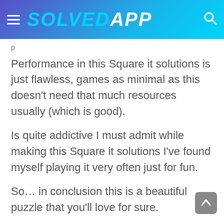SOLVEDAPP
Performance in this Square it solutions is just flawless, games as minimal as this doesn't need that much resources usually (which is good).
Is quite addictive I must admit while making this Square it solutions I've found myself playing it very often just for fun.
So… in conclusion this is a beautiful puzzle that you'll love for sure.
You know what to do, if you get stuck come